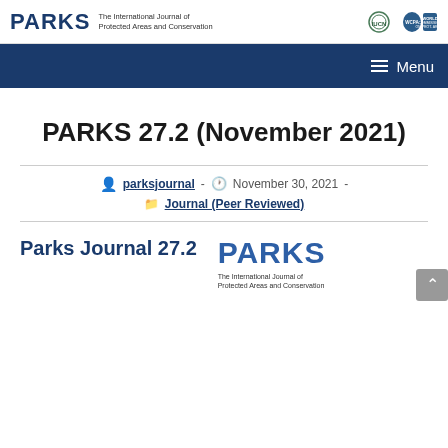PARKS — The International Journal of Protected Areas and Conservation
PARKS 27.2 (November 2021)
parksjournal  -  November 30, 2021  -  Journal (Peer Reviewed)
Parks Journal 27.2